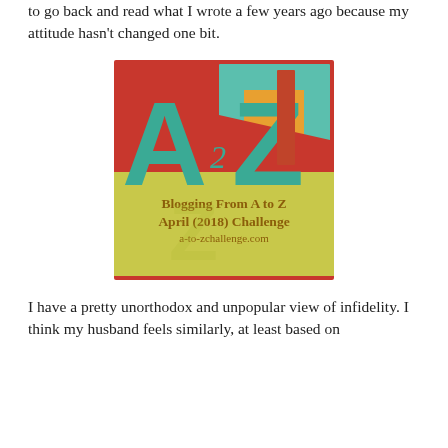to go back and read what I wrote a few years ago because my attitude hasn't changed one bit.
[Figure (logo): A to Z Blogging Challenge logo for April 2018. Large teal letters A and Z with a small 2 between them on a red and yellow-green background. Text reads: Blogging From A to Z April (2018) Challenge a-to-zchallenge.com]
I have a pretty unorthodox and unpopular view of infidelity. I think my husband feels similarly, at least based on